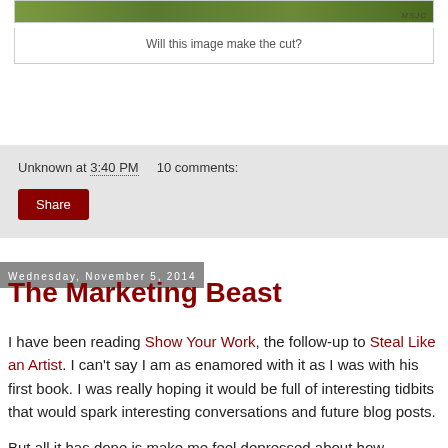[Figure (photo): Partial photo strip at top showing green foliage/nature scene with watermark text]
Will this image make the cut?
Unknown at 3:40 PM    10 comments:
Share
Wednesday, November 5, 2014
The Marketing Beast
I have been reading Show Your Work, the follow-up to Steal Like an Artist. I can't say I am as enamored with it as I was with his first book. I was really hoping it would be full of interesting tidbits that would spark interesting conversations and future blog posts.
But all it has done is make me feel depressed about how